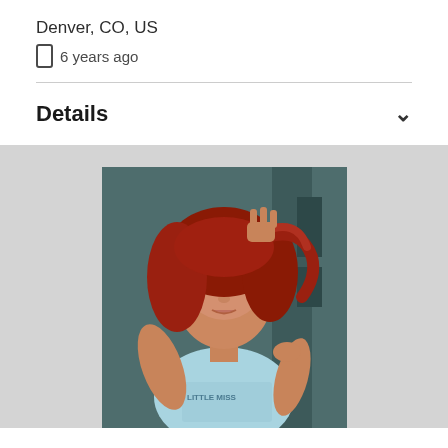Denver, CO, US
📱 6 years ago
Details
[Figure (photo): A young woman with red/auburn hair wearing a light blue 'Little Miss' tank top, posing against a dark teal/green textured wall, looking intensely at the camera with one hand in her hair.]